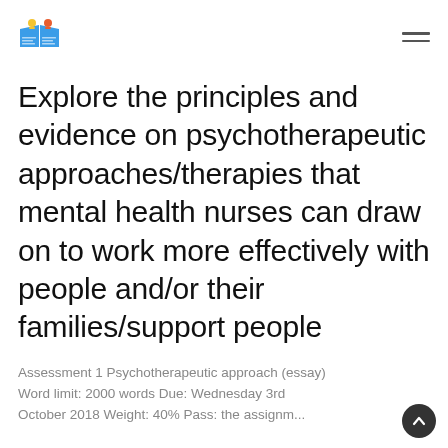[Logo] [Navigation menu]
Explore the principles and evidence on psychotherapeutic approaches/therapies that mental health nurses can draw on to work more effectively with people and/or their families/support people
Assessment 1 Psychotherapeutic approach (essay)
Word limit: 2000 words Due: Wednesday 3rd October 2018 Weight: 40% Pass: the assignment